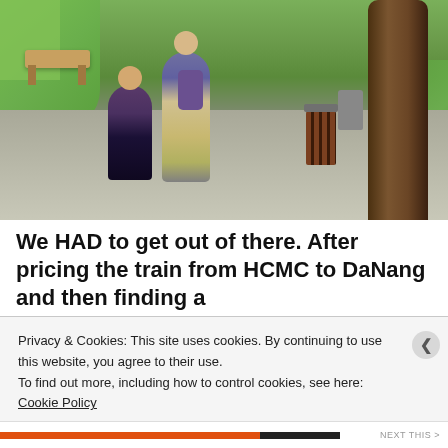[Figure (photo): A park scene showing two people walking on a path. A younger person in a plaid shirt and dark jeans and an older person with a backpack are walking near a trash can and a large tree. Green grass and hedges are visible in the background, with a bench on the left.]
We HAD to get out of there. After pricing the train from HCMC to DaNang and then finding a
Privacy & Cookies: This site uses cookies. By continuing to use this website, you agree to their use.
To find out more, including how to control cookies, see here: Cookie Policy
Close and accept